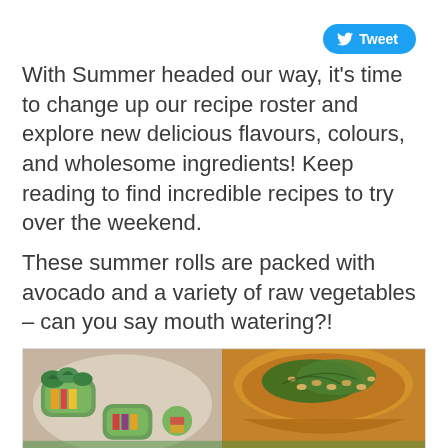[Figure (other): Twitter Tweet button with bird icon]
With Summer headed our way, it's time to change up our recipe roster and explore new delicious flavours, colours, and wholesome ingredients! Keep reading to find incredible recipes to try over the weekend.
These summer rolls are packed with avocado and a variety of raw vegetables – can you say mouth watering?!
[Figure (photo): Photo of summer rolls with avocado and raw vegetables alongside a bowl of sauce with greens and peanuts]